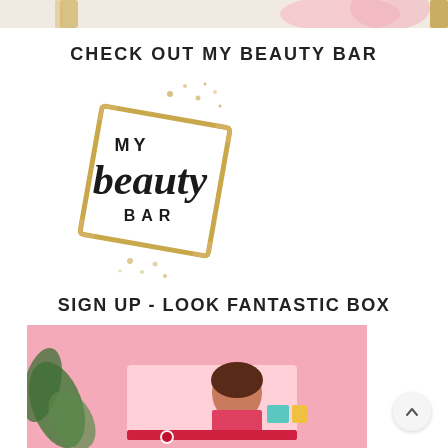[Figure (photo): Top portion of a photo showing beauty/makeup items including brushes and cosmetics on a light background — only the bottom edge visible at the top of the page]
CHECK OUT MY BEAUTY BAR
[Figure (logo): My Beauty Bar logo: gold square frame with scattered gold dots and black script/sans-serif text reading 'my beauty BAR']
SIGN UP - LOOK FANTASTIC BOX
[Figure (photo): Pink beauty subscription box with illustrated woman graphic on a pink background, with green plant leaves visible on the left side]